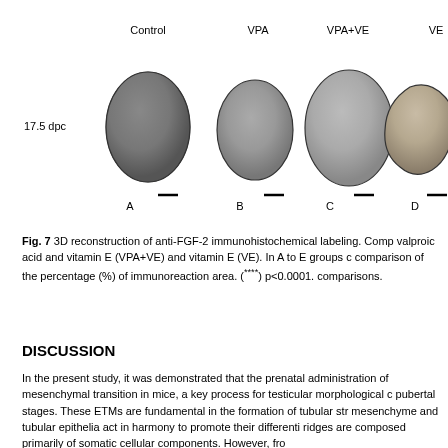[Figure (photo): 3D reconstruction images of anti-FGF-2 immunohistochemical labeling at 17.5 dpc for four groups: Control (A), VPA (B), VPA+VE (C), and VE (D). Each group shows a kidney-like 3D shape with scale bars below. Labels A, B, C, D are shown under each image.]
Fig. 7 3D reconstruction of anti-FGF-2 immunohistochemical labeling. Comparison of control, valproic acid and vitamin E (VPA+VE) and vitamin E (VE). In A to E groups of comparison of the percentage (%) of immunoreaction area. (****) p<0.0001. comparisons.
DISCUSSION
In the present study, it was demonstrated that the prenatal administration of mesenchymal transition in mice, a key process for testicular morphological development at pubertal stages. These ETMs are fundamental in the formation of tubular structures where mesenchyme and tubular epithelia act in harmony to promote their differentiation. The gonadal ridges are composed primarily of somatic cellular components. However, fro